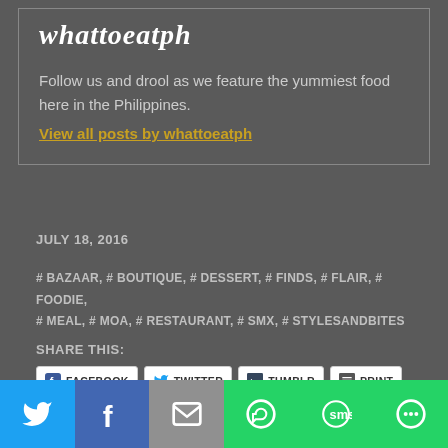whattoeatph
Follow us and drool as we feature the yummiest food here in the Philippines.
View all posts by whattoeatph
JULY 18, 2016
# BAZAAR, # BOUTIQUE, # DESSERT, # FINDS, # FLAIR, # FOODIE, # MEAL, # MOA, # RESTAURANT, # SMX, # STYLESANDBITES
SHARE THIS:
FACEBOOK TWITTER TUMBLR PRINT
LIKE THIS:
[Figure (infographic): Bottom social sharing bar with icons for Twitter (blue), Facebook (dark blue), Email (grey), WhatsApp (green), SMS (green), More (green)]